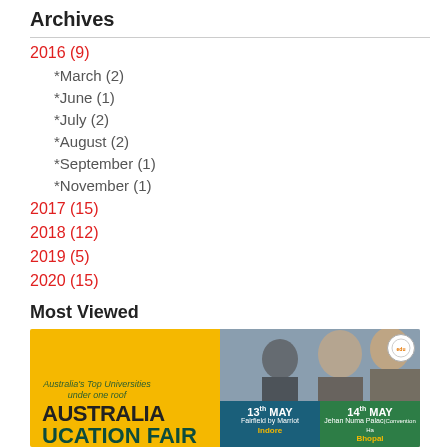Archives
2016 (9)
*March (2)
*June (1)
*July (2)
*August (2)
*September (1)
*November (1)
2017 (15)
2018 (12)
2019 (5)
2020 (15)
Most Viewed
[Figure (photo): Australia Education Fair promotional banner with yellow background, text 'Australia's Top Universities under one roof', 'AUSTRALIA EDUCATION FAIR', and date boxes showing 13th MAY at Fairfield by Marriot Indore and 14th MAY at Jehan Numa Palace Bhopal, with students studying in background.]